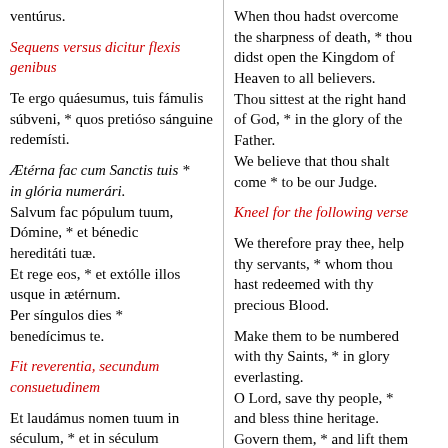ventúrus.
Sequens versus dicitur flexis genibus
Te ergo quáesumus, tuis fámulis súbveni, * quos pretióso sánguine redemísti.
Ætérna fac cum Sanctis tuis * in glória numerári.
Salvum fac pópulum tuum, Dómine, * et bénedic hereditáti tuæ.
Et rege eos, * et extólle illos usque in ætérnum.
Per síngulos dies * benedícimus te.
Fit reverentia, secundum consuetudinem
Et laudámus nomen tuum in séculum, * et in séculum séculi.
Dignáre, Dómine, die isto *
When thou hadst overcome the sharpness of death, * thou didst open the Kingdom of Heaven to all believers.
Thou sittest at the right hand of God, * in the glory of the Father.
We believe that thou shalt come * to be our Judge.
Kneel for the following verse
We therefore pray thee, help thy servants, * whom thou hast redeemed with thy precious Blood.
Make them to be numbered with thy Saints, * in glory everlasting.
O Lord, save thy people, * and bless thine heritage.
Govern them, * and lift them up for ever.
Day by day * we magnify